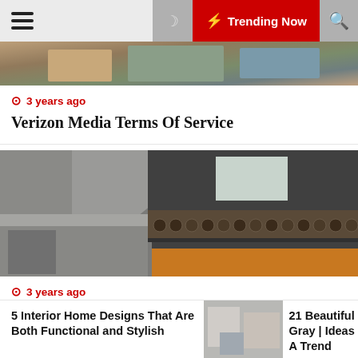≡  🌙  ⚡ Trending Now  🔍
[Figure (photo): Partial view of an article's header image (cropped architectural/exterior photo)]
🕐 3 years ago
Verizon Media Terms Of Service
[Figure (photo): Interior/exterior architectural photo showing a multi-level modern home with concrete walls, wooden log stack, mezzanine level, and orange accent walls]
🕐 3 years ago
10% Off In January 2021
5 Interior Home Designs That Are Both Functional and Stylish
[Figure (photo): Thumbnail of a gray interior room]
21 Beautiful Gray | Ideas For A Trend